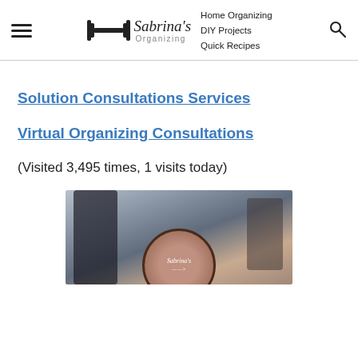Sabrina's Organizing — Home Organizing, DIY Projects, Quick Recipes
Solution Consultations Services
Virtual Organizing Consultations
(Visited 3,495 times, 1 visits today)
[Figure (photo): Photo showing a person holding a round branded Sabrina's Organizing logo disc/badge, blurred background with another person]